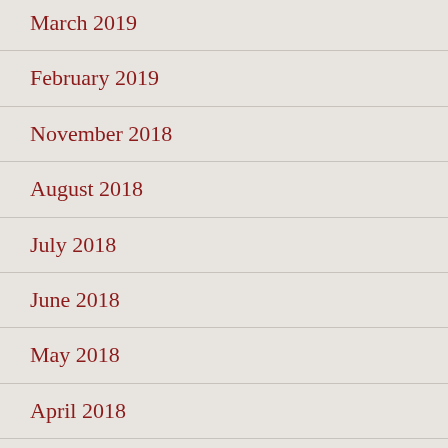March 2019
February 2019
November 2018
August 2018
July 2018
June 2018
May 2018
April 2018
March 2018